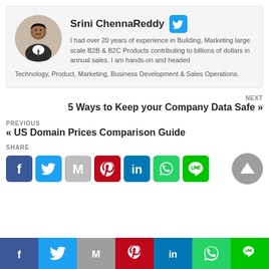[Figure (photo): Author profile photo of Srini ChennaReddy, circular crop, man in suit]
Srini ChennaReddy
I had over 20 years of experience in Building, Marketing large scale B2B & B2C Products contributing to billions of dollars in annual sales. I am hands-on and headed Technology, Product, Marketing, Business Development & Sales Operations.
NEXT
5 Ways to Keep your Company Data Safe »
PREVIOUS
« US Domain Prices Comparison Guide
SHARE